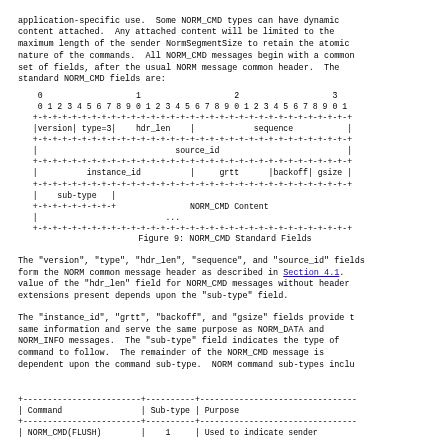application-specific use.  Some NORM_CMD types can have dynamic content attached.  Any attached content will be limited to the maximum length of the sender NormSegmentSize to retain the atomic nature of the commands.  All NORM_CMD messages begin with a common set of fields, after the usual NORM message common header.  The standard NORM_CMD fields are:
[Figure (schematic): Bit field diagram showing NORM_CMD standard fields: version, type=3, hdr_len, sequence, source_id, instance_id, grtt, backoff, gsize, sub-type, and NORM_CMD Content]
Figure 9: NORM_CMD Standard Fields
The "version", "type", "hdr_len", "sequence", and "source_id" fields form the NORM common message header as described in Section 4.1. value of the "hdr_len" field for NORM_CMD messages without header extensions present depends upon the "sub-type" field.
The "instance_id", "grtt", "backoff", and "gsize" fields provide the same information and serve the same purpose as NORM_DATA and NORM_INFO messages.  The "sub-type" field indicates the type of command to follow.  The remainder of the NORM_CMD message is dependent upon the command sub-type.  NORM command sub-types include:
| Command | Sub-type | Purpose |
| --- | --- | --- |
| NORM_CMD(FLUSH) | 1 | Used to indicate sender |